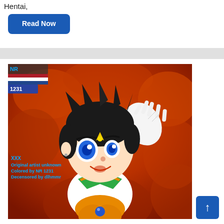Hentai,
Read Now
[Figure (illustration): Anime-style illustration of a female character with dark hair, blue eyes, wearing a sailor-style outfit with green and orange colors against a red/orange fiery background. Overlaid text reads: NR, 1231, XXX, Original artist unknown, Colored by NR 1231, Decensored by dlhmmr. A flag overlay (Netherlands) and number 1231 appear in the top-left corner.]
↑